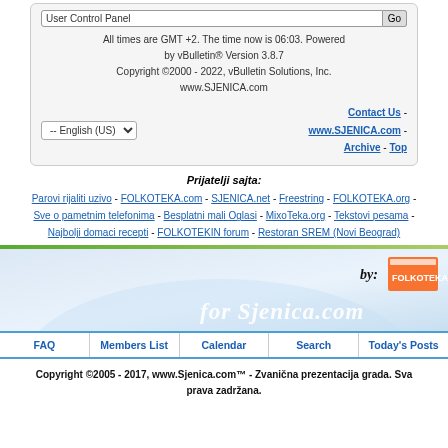All times are GMT +2. The time now is 06:03. Powered by vBulletin® Version 3.8.7 Copyright ©2000 - 2022, vBulletin Solutions, Inc. www.SJENICA.com
Contact Us - www.SJENICA.com - Archive - Top
Prijatelji sajta:
Parovi rijaliti uzivo - FOLKOTEKA.com - SJENICA.net - Freestring - FOLKOTEKA.org - Sve o pametnim telefonima - Besplatni mali Oglasi - MixoTeka.org - Tekstovi pesama - Najbolji domaci recepti - FOLKOTEKIN forum - Restoran SREM (Novi Beograd)
[Figure (screenshot): Website banner for Sjenica.com with 'by: for Sjenica.com' text and logo]
FAQ | Members List | Calendar | Search | Today's Posts
Copyright ©2005 - 2017, www.Sjenica.com™ - Zvanična prezentacija grada. Sva prava zadržana.